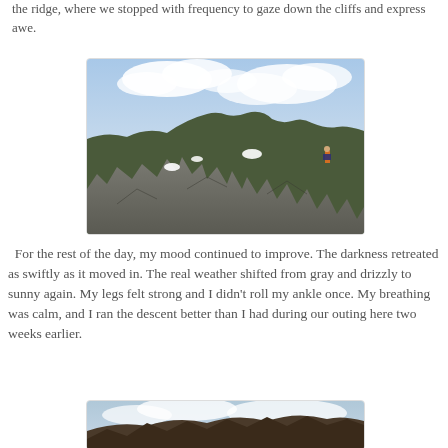the ridge, where we stopped with frequency to gaze down the cliffs and express awe.
[Figure (photo): Mountain ridge with rocky terrain, patches of snow, cloudy sky, and a hiker visible on the right side of the ridge.]
For the rest of the day, my mood continued to improve. The darkness retreated as swiftly as it moved in. The real weather shifted from gray and drizzly to sunny again. My legs felt strong and I didn't roll my ankle once. My breathing was calm, and I ran the descent better than I had during our outing here two weeks earlier.
[Figure (photo): Mountain hillside with rocky terrain and cloudy sky, partial view cut off at bottom of page.]